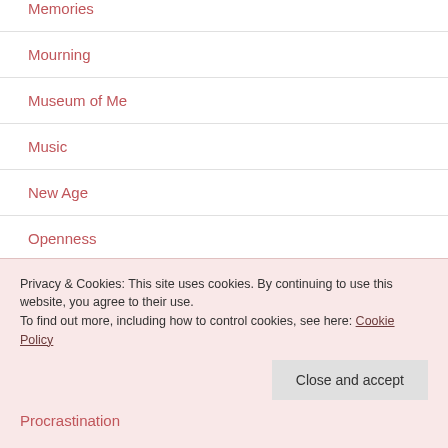Memories
Mourning
Museum of Me
Music
New Age
Openness
Opinion
Procrastination
Privacy & Cookies: This site uses cookies. By continuing to use this website, you agree to their use. To find out more, including how to control cookies, see here: Cookie Policy
Close and accept